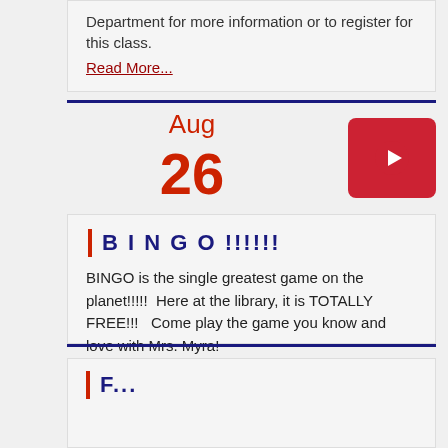Department for more information or to register for this class.
Read More...
Aug
26
[Figure (other): Red play button icon]
BINGO !!!!!!
BINGO is the single greatest game on the planet!!!!!  Here at the library, it is TOTALLY FREE!!!   Come play the game you know and love with Mrs. Myra!
Read More...
F...